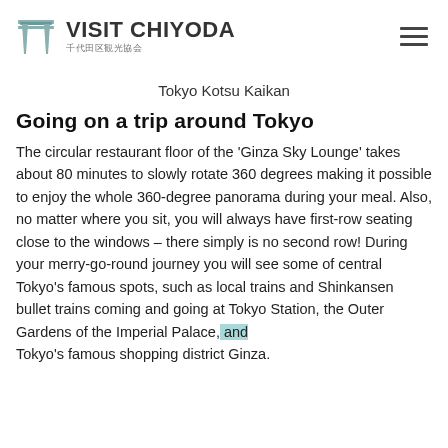VISIT CHIYODA 千代田区観光協会
Tokyo Kotsu Kaikan
Going on a trip around Tokyo
The circular restaurant floor of the 'Ginza Sky Lounge' takes about 80 minutes to slowly rotate 360 degrees making it possible to enjoy the whole 360-degree panorama during your meal. Also, no matter where you sit, you will always have first-row seating close to the windows – there simply is no second row! During your merry-go-round journey you will see some of central Tokyo's famous spots, such as local trains and Shinkansen bullet trains coming and going at Tokyo Station, the Outer Gardens of the Imperial Palace, and Tokyo's famous shopping district Ginza.